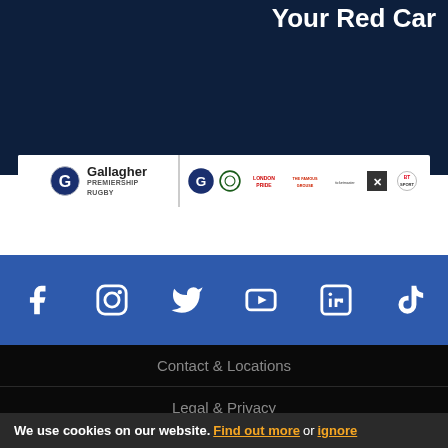Your Red Car
[Figure (logo): Gallagher Premiership Rugby sponsor banner with logos: Gallagher, Land Rover, London Pride, Famous Grouse, Ticketmaster, X (Reebok), BT Sport]
[Figure (infographic): Social media icons bar: Facebook, Instagram, Twitter, YouTube, LinkedIn, TikTok on blue background]
Contact & Locations
Legal & Privacy
Jobs
Sitemap
We use cookies on our website. Find out more or ignore